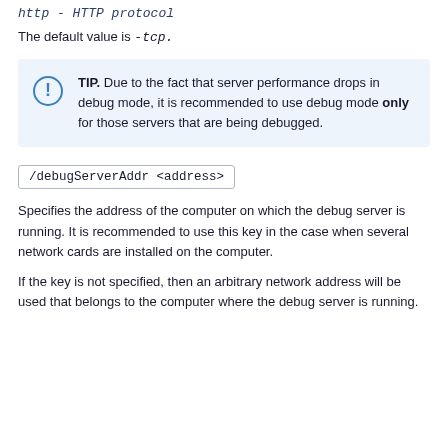http - HTTP protocol
The default value is -tcp.
TIP. Due to the fact that server performance drops in debug mode, it is recommended to use debug mode only for those servers that are being debugged.
/debugServerAddr <address>
Specifies the address of the computer on which the debug server is running. It is recommended to use this key in the case when several network cards are installed on the computer.
If the key is not specified, then an arbitrary network address will be used that belongs to the computer where the debug server is running.